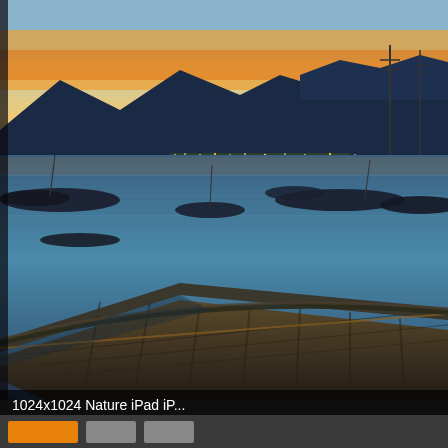[Figure (photo): Twilight/dusk photograph of a marina harbor with boats moored on calm reflective blue water. A wooden dock/pier extends diagonally from lower-left toward lower-right. Mountains silhouetted against a golden-orange sunset sky in the background. Power line towers visible on the right. City lights visible along the far shore.]
1024x1024 Nature iPad iP...